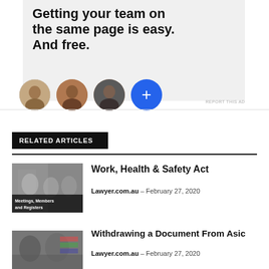[Figure (screenshot): Advertisement banner with bold text 'Getting your team on the same page is easy. And free.' on a light gray background, with four circular avatar images/icons below (three person photos and one blue plus button)]
REPORT THIS AD
RELATED ARTICLES
[Figure (photo): Photo of people in a meeting/office setting with text overlay 'Meetings, Members and Registers']
Work, Health & Safety Act
Lawyer.com.au – February 27, 2020
[Figure (photo): Photo of people in a legal/office setting with documents]
Withdrawing a Document From Asic
Lawyer.com.au – February 27, 2020